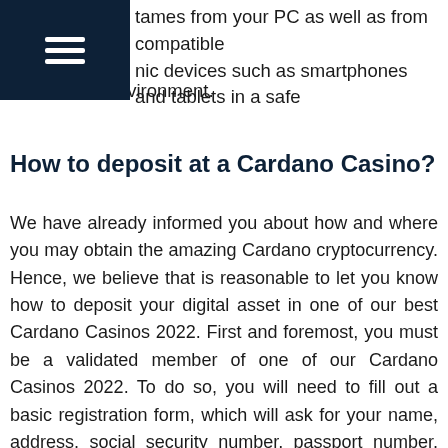tames from your PC as well as from compatible nic devices such as smartphones and tablets in a safe and secure environment.
How to deposit at a Cardano Casino?
We have already informed you about how and where you may obtain the amazing Cardano cryptocurrency. Hence, we believe that is reasonable to let you know how to deposit your digital asset in one of our best Cardano Casinos 2022. First and foremost, you must be a validated member of one of our Cardano Casinos 2022. To do so, you will need to fill out a basic registration form, which will ask for your name, address, social security number, passport number, and other information. After you complete the form, a representative from the relevant brand will review your information. You may be confident that no problems will develop as long as you supplied just true information and were of legal gambling age. Following the successful authentication of your account, you may choose to fund it in order to wager for real money. Click the Cashier tab.